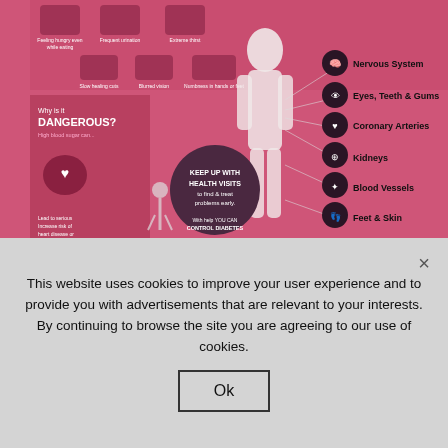[Figure (infographic): Diabetes infographic showing symptoms (feeling hungry even while eating, frequent urination, extreme thirst, slow healing cuts, blurred vision, numbness in hands or feet), why it is dangerous (high blood sugar can lead to serious issues, increases risk of heart disease), keep up with health visits to find & treat problems early, with help YOU CAN CONTROL DIABETES, and body systems affected: Nervous System, Eyes Teeth & Gums, Coronary Arteries, Kidneys, Blood Vessels, Feet & Skin]
PRESS HEALTH   SOURCE: cardiosmart.org/diabetes
names for pre-diabetes are:
Borderline diabetes
This website uses cookies to improve your user experience and to provide you with advertisements that are relevant to your interests. By continuing to browse the site you are agreeing to our use of cookies.
Ok